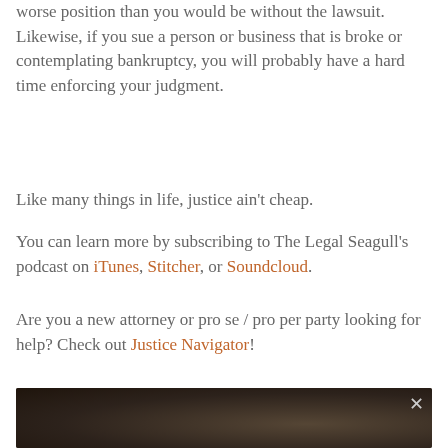beyond what you recover, you are in a worse position than you would be without the lawsuit. Likewise, if you sue a person or business that is broke or contemplating bankruptcy, you will probably have a hard time enforcing your judgment.
Like many things in life, justice ain't cheap.
You can learn more by subscribing to The Legal Seagull's podcast on iTunes, Stitcher, or Soundcloud.
Are you a new attorney or pro se / pro per party looking for help? Check out Justice Navigator!
[Figure (photo): Dark background image with blurred figures, showing a close-up (x) dismiss button in the top right corner]